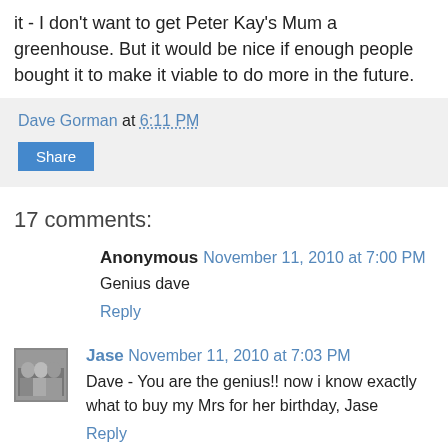it - I don't want to get Peter Kay's Mum a greenhouse. But it would be nice if enough people bought it to make it viable to do more in the future.
Dave Gorman at 6:11 PM
Share
17 comments:
Anonymous November 11, 2010 at 7:00 PM
Genius dave
Reply
[Figure (photo): Small user avatar photo thumbnail for commenter Jase]
Jase November 11, 2010 at 7:03 PM
Dave - You are the genius!! now i know exactly what to buy my Mrs for her birthday, Jase
Reply